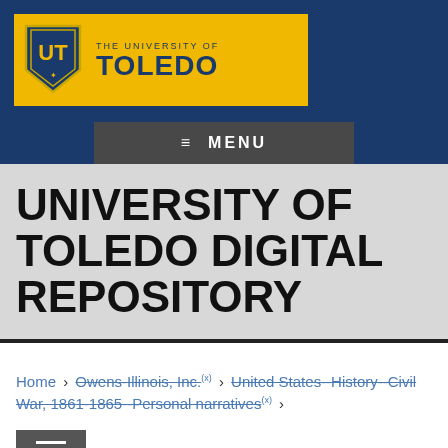[Figure (logo): University of Toledo logo with shield and wordmark on gold background]
≡ MENU
UNIVERSITY OF TOLEDO DIGITAL REPOSITORY
Home › Owens-Illinois, Inc. (x) › United States--History--Civil War, 1861-1865--Personal narratives (x) ›